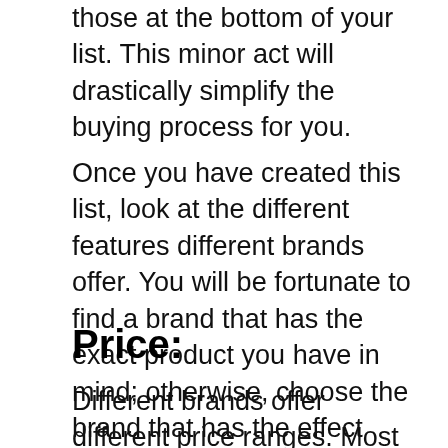those at the bottom of your list. This minor act will drastically simplify the buying process for you.
Once you have created this list, look at the different features different brands offer. You will be fortunate to find a brand that has the exact product you have in mind; otherwise, choose the brand that has the effect with most of the features on your list. By doing this, you will find the right product according to your requirements.
Price:
Different brands offer different price ranges. Most products by renowned brands are expensive as compared to newly established